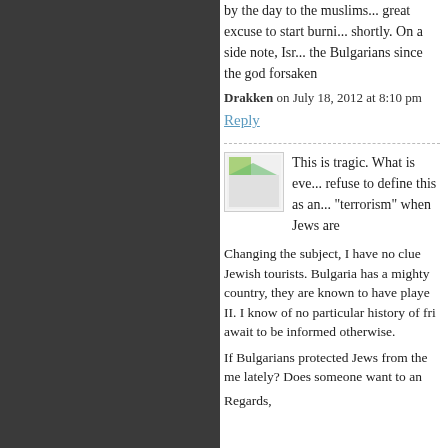by the day to the muslims... great excuse to start burni... shortly. On a side note, Isr... the Bulgarians since the god forsaken
Drakken on July 18, 2012 at 8:10 pm
Reply
[Figure (photo): Avatar/user profile image thumbnail]
This is tragic. What is eve... refuse to define this as an... "terrorism" when Jews are
Changing the subject, I have no clue Jewish tourists. Bulgaria has a mighty country, they are known to have playe II. I know of no particular history of fri await to be informed otherwise.
If Bulgarians protected Jews from the me lately? Does someone want to an
Regards,